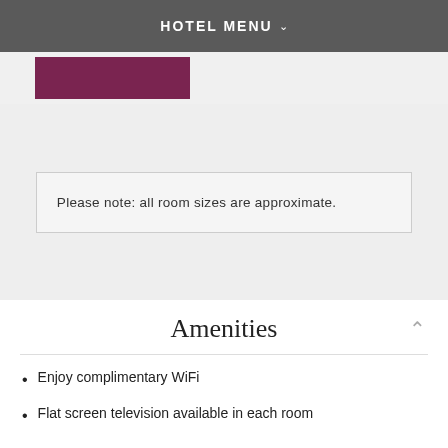HOTEL MENU
[Figure (photo): Dark maroon/purple colored image block strip]
Please note: all room sizes are approximate.
Amenities
Enjoy complimentary WiFi
Flat screen television available in each room